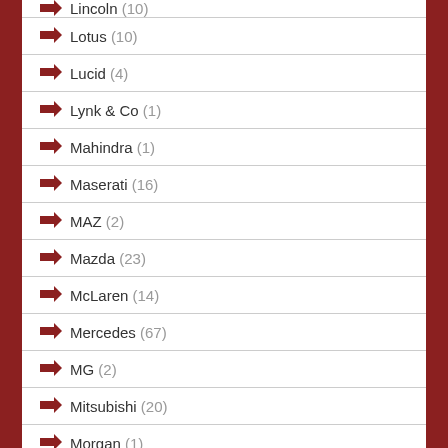Lincoln (10)
Lotus (10)
Lucid (4)
Lynk & Co (1)
Mahindra (1)
Maserati (16)
MAZ (2)
Mazda (23)
McLaren (14)
Mercedes (67)
MG (2)
Mitsubishi (20)
Morgan (1)
Moskvich (2)